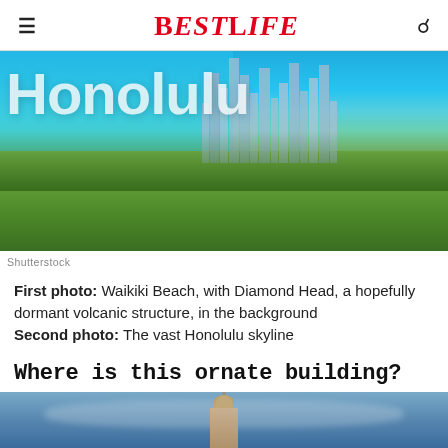BESTLIFE
[Figure (photo): Aerial view of Honolulu with city skyline, green parks, turquoise ocean, and 'Honolulu' text overlay]
Shutterstock
First photo: Waikiki Beach, with Diamond Head, a hopefully dormant volcanic structure, in the background Second photo: The vast Honolulu skyline
Where is this ornate building?
[Figure (photo): Ornate building with dome and spire against a blue sky]